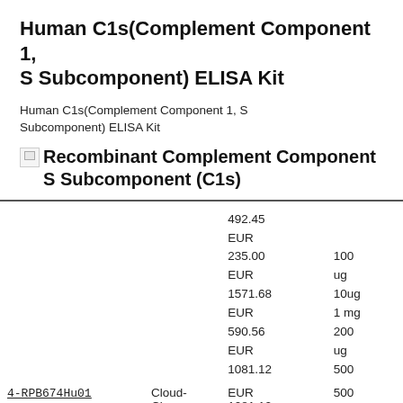Human C1s(Complement Component 1, S Subcomponent) ELISA Kit
Human C1s(Complement Component 1, S Subcomponent) ELISA Kit
[Figure (illustration): Broken image placeholder followed by text: Recombinant Complement Component S Subcomponent (C1s)]
|  |  | 492.45 EUR 235.00 EUR 1571.68 EUR 590.56 EUR 1081.12 | 100 ug 10ug 1 mg 200 ug 500 |
| --- | --- | --- | --- |
| 4-RPB674Hu01 | Cloud-Clone | 492.45
EUR
235.00
EUR
1571.68
EUR
590.56
EUR
1081.12 | 100
ug
10ug
1 mg
200
ug
500 |